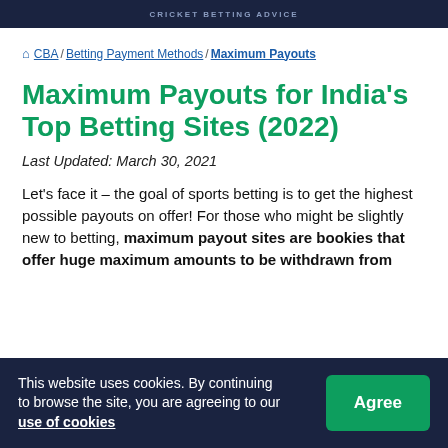CRICKET BETTING ADVICE
CBA / Betting Payment Methods / Maximum Payouts
Maximum Payouts for India's Top Betting Sites (2022)
Last Updated: March 30, 2021
Let's face it – the goal of sports betting is to get the highest possible payouts on offer! For those who might be slightly new to betting, maximum payout sites are bookies that offer huge maximum amounts to be withdrawn from
This website uses cookies. By continuing to browse the site, you are agreeing to our use of cookies  Agree